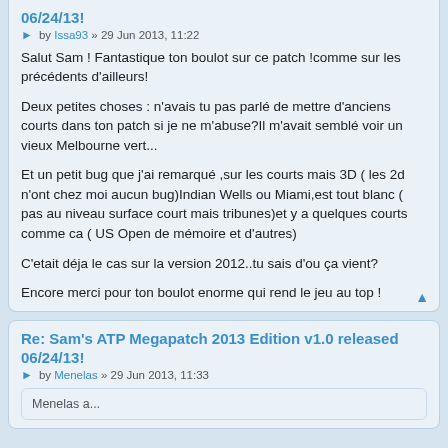06/24/13!
by Issa93 » 29 Jun 2013, 11:22
Salut Sam ! Fantastique ton boulot sur ce patch !comme sur les précédents d'ailleurs!

Deux petites choses : n'avais tu pas parlé de mettre d'anciens courts dans ton patch si je ne m'abuse?Il m'avait semblé voir un vieux Melbourne vert...

Et un petit bug que j'ai remarqué ,sur les courts mais 3D ( les 2d n'ont chez moi aucun bug)Indian Wells ou Miami,est tout blanc ( pas au niveau surface court mais tribunes)et y a quelques courts comme ca ( US Open de mémoire et d'autres)

C'etait déja le cas sur la version 2012..tu sais d'ou ça vient?

Encore merci pour ton boulot enorme qui rend le jeu au top !
Re: Sam's ATP Megapatch 2013 Edition v1.0 released 06/24/13!
by Menelas » 29 Jun 2013, 11:33